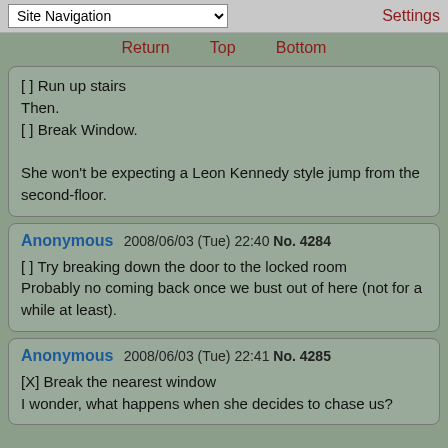Site Navigation | Settings
Return  Top  Bottom
[ ] Run up stairs
Then.
[ ] Break Window.

She won't be expecting a Leon Kennedy style jump from the second-floor.
Anonymous  2008/06/03 (Tue) 22:40  No. 4284

[ ] Try breaking down the door to the locked room
Probably no coming back once we bust out of here (not for a while at least).
Anonymous  2008/06/03 (Tue) 22:41  No. 4285

[X] Break the nearest window
I wonder, what happens when she decides to chase us?